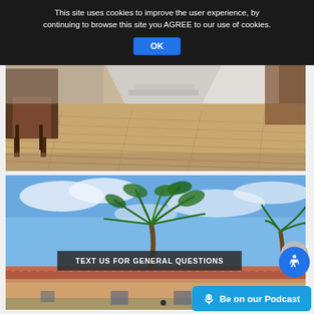This site uses cookies to improve the user experience, by continuing to browse this site you AGREE to our use of cookies
OK
[Figure (photo): Interior room photo showing a wooden floor with a tan/brown chair and furniture. Light wood plank flooring visible with stairs in background.]
[Figure (photo): Exterior photo showing a building with red-tiled roof, palm trees against a partly cloudy blue sky.]
TEXT US FOR GENERAL QUESTIONS
🎙 Be on our Podcast